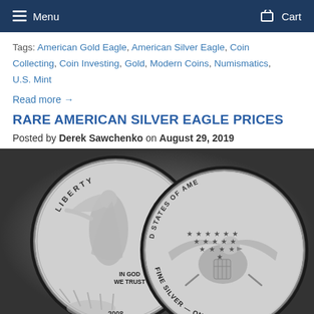Menu  Cart
Tags: American Gold Eagle, American Silver Eagle, Coin Collecting, Coin Investing, Gold, Modern Coins, Numismatics, U.S. Mint
Read more →
RARE AMERICAN SILVER EAGLE PRICES
Posted by Derek Sawchenko on August 29, 2019
[Figure (photo): Two American Silver Eagle coins — obverse (Walking Liberty) and reverse (heraldic eagle) — proof versions, year 2008, Fine Silver One Dollar]